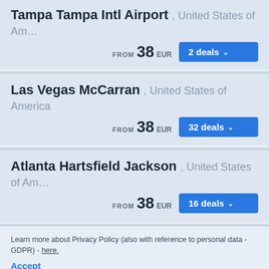Tampa Tampa Intl Airport, United States of Am...
FROM 38 EUR | 2 deals
Las Vegas McCarran, United States of America
FROM 38 EUR | 32 deals
Atlanta Hartsfield Jackson, United States of Am...
FROM 38 EUR | 16 deals
Learn more about Privacy Policy (also with reference to personal data - GDPR) - here.
Accept